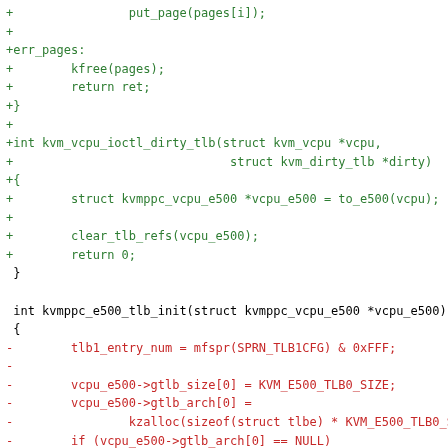Code diff showing kvm_vcpu_ioctl_dirty_tlb function addition and kvmppc_e500_tlb_init modification in green (added lines) and red (removed lines)